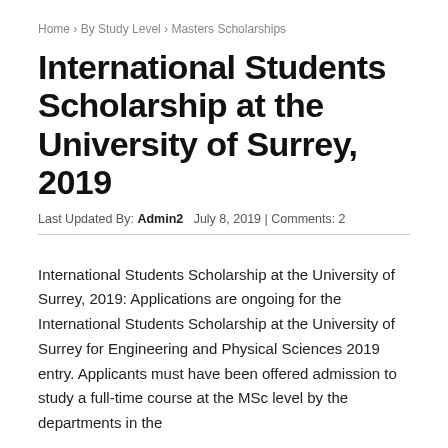Home › By Study Level › Masters Scholarships
International Students Scholarship at the University of Surrey, 2019
Last Updated By: Admin2   July 8, 2019 | Comments:  2
International Students Scholarship at the University of Surrey, 2019: Applications are ongoing for the International Students Scholarship at the University of Surrey for Engineering and Physical Sciences 2019 entry. Applicants must have been offered admission to study a full-time course at the MSc level by the departments in the